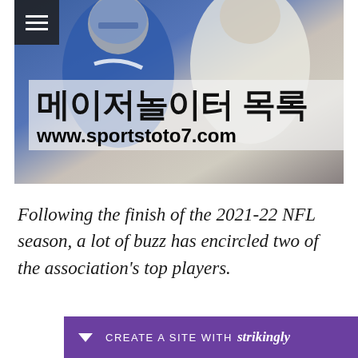[Figure (photo): Hero banner image showing NFL football players in uniform (blue and white jerseys), with Korean text overlay reading 메이저놀이터 목록 and URL www.sportstoto7.com on a semi-transparent background]
Following the finish of the 2021-22 NFL season, a lot of buzz has encircled two of the association's top players.
CREATE A SITE WITH strikingly